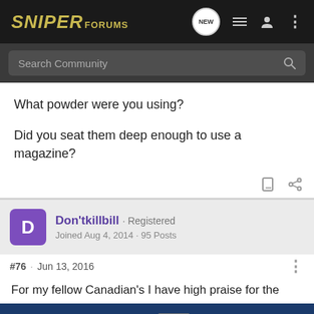SNIPER FORUMS
What powder were you using?
Did you seat them deep enough to use a magazine?
Don'tkillbill · Registered
Joined Aug 4, 2014 · 95 Posts
#76 · Jun 13, 2016
For my fellow Canadian's I have high praise for the Cam-Pro bullets 55 grainers are capable of MOA out of my AR15. I was able to p[...] roups of 5 I ha[...]